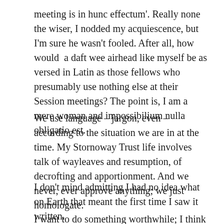meeting is in hunc effectum'. Really none the wiser, I nodded my acquiescence, but I'm sure he wasn't fooled. After all, how would  a daft wee airhead like myself be as versed in Latin as those fellows who presumably use nothing else at their Session meetings? The point is, I am a mere woman and impossibilium nulla obligatio est.
We use language – jargon, even – according to the situation we are in at the time. My Stornoway Trust life involves talk of wayleaves and resumption, of decrofting and apportionment. And we never, ever approve anything; we just homologate.
I don't mind admitting I had no idea what on Earth that meant the first time I saw it written.
I want to do something worthwhile; I think I do that.